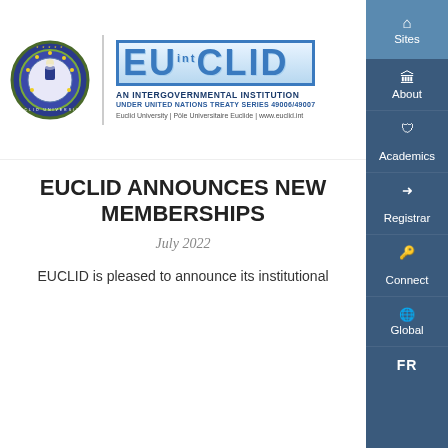[Figure (logo): EUCLID University circular seal/crest logo with stars and figure, and the EUCLID.int brand mark with tagline 'AN INTERGOVERNMENTAL INSTITUTION UNDER UNITED NATIONS TREATY SERIES 49006/49007' and 'Euclid University | Pôle Universitaire Euclide | www.euclid.int']
[Figure (infographic): Right navigation sidebar with items: Sites, About, Academics, Registrar, Connect, Global, FR on a dark blue background]
EUCLID ANNOUNCES NEW MEMBERSHIPS
July 2022
EUCLID is pleased to announce its institutional